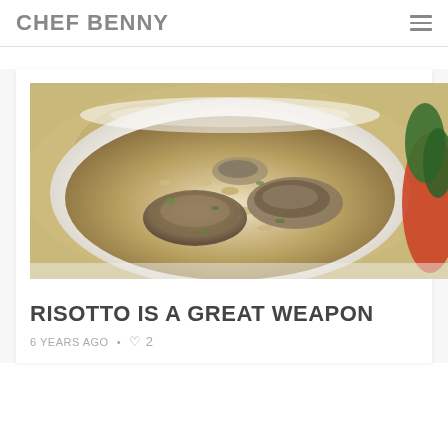CHEF BENNY
[Figure (photo): A white bowl filled with creamy mushroom risotto, with large mushroom slices on top and green herbs mixed in. Red vegetables visible in the background on the right.]
RISOTTO IS A GREAT WEAPON
6 YEARS AGO • ♡ 2